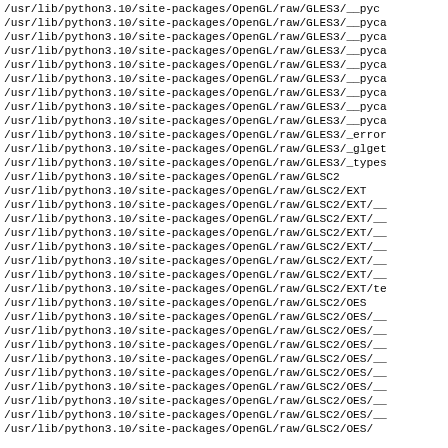/usr/lib/python3.10/site-packages/OpenGL/raw/GLES3/__pyc
/usr/lib/python3.10/site-packages/OpenGL/raw/GLES3/__pyca
/usr/lib/python3.10/site-packages/OpenGL/raw/GLES3/__pyca
/usr/lib/python3.10/site-packages/OpenGL/raw/GLES3/__pyca
/usr/lib/python3.10/site-packages/OpenGL/raw/GLES3/__pyca
/usr/lib/python3.10/site-packages/OpenGL/raw/GLES3/__pyca
/usr/lib/python3.10/site-packages/OpenGL/raw/GLES3/__pyca
/usr/lib/python3.10/site-packages/OpenGL/raw/GLES3/__pyca
/usr/lib/python3.10/site-packages/OpenGL/raw/GLES3/__pyca
/usr/lib/python3.10/site-packages/OpenGL/raw/GLES3/_error
/usr/lib/python3.10/site-packages/OpenGL/raw/GLES3/_glget
/usr/lib/python3.10/site-packages/OpenGL/raw/GLES3/_types
/usr/lib/python3.10/site-packages/OpenGL/raw/GLSC2
/usr/lib/python3.10/site-packages/OpenGL/raw/GLSC2/EXT
/usr/lib/python3.10/site-packages/OpenGL/raw/GLSC2/EXT/__
/usr/lib/python3.10/site-packages/OpenGL/raw/GLSC2/EXT/__
/usr/lib/python3.10/site-packages/OpenGL/raw/GLSC2/EXT/__
/usr/lib/python3.10/site-packages/OpenGL/raw/GLSC2/EXT/__
/usr/lib/python3.10/site-packages/OpenGL/raw/GLSC2/EXT/__
/usr/lib/python3.10/site-packages/OpenGL/raw/GLSC2/EXT/__
/usr/lib/python3.10/site-packages/OpenGL/raw/GLSC2/EXT/te
/usr/lib/python3.10/site-packages/OpenGL/raw/GLSC2/OES
/usr/lib/python3.10/site-packages/OpenGL/raw/GLSC2/OES/__
/usr/lib/python3.10/site-packages/OpenGL/raw/GLSC2/OES/__
/usr/lib/python3.10/site-packages/OpenGL/raw/GLSC2/OES/__
/usr/lib/python3.10/site-packages/OpenGL/raw/GLSC2/OES/__
/usr/lib/python3.10/site-packages/OpenGL/raw/GLSC2/OES/__
/usr/lib/python3.10/site-packages/OpenGL/raw/GLSC2/OES/__
/usr/lib/python3.10/site-packages/OpenGL/raw/GLSC2/OES/__
/usr/lib/python3.10/site-packages/OpenGL/raw/GLSC2/OES/__
/usr/lib/python3.10/site-packages/OpenGL/raw/GLSC2/OES/